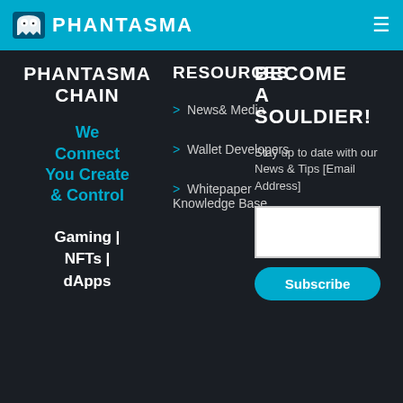PHANTASMA (logo with ghost icon, hamburger menu)
PHANTASMA CHAIN
We Connect You Create & Control
Gaming | NFTs | dApps
RESOURCES
> News & Media
> Wallets Developers
> Whitepaper Knowledge Base
BECOME A SOULDIER!
Stay up to date with our News & Tips [Email Address]
Subscribe